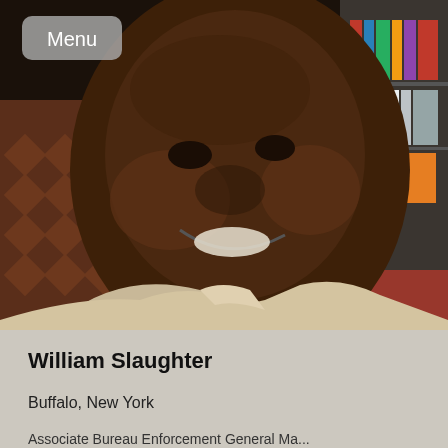[Figure (photo): Close-up photo of a smiling man wearing a light beige shirt, in an indoor setting with a patterned couch and shelving visible in the background. A 'Menu' button overlay is visible in the top-left corner.]
William Slaughter
Buffalo, New York
Associate Bureau Enforcement General Ma...